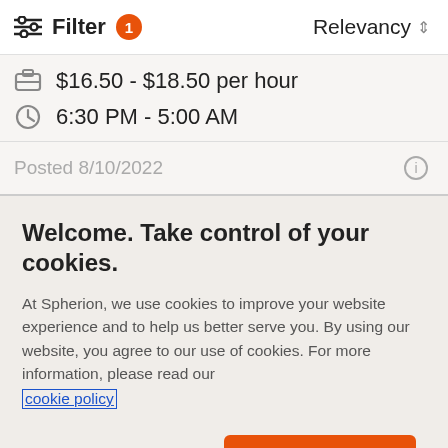Filter 1  Relevancy
$16.50 - $18.50 per hour
6:30 PM - 5:00 AM
Posted 8/10/2022
Welcome. Take control of your cookies.
At Spherion, we use cookies to improve your website experience and to help us better serve you. By using our website, you agree to our use of cookies. For more information, please read our cookie policy
Cookies Settings
Accept Cookies